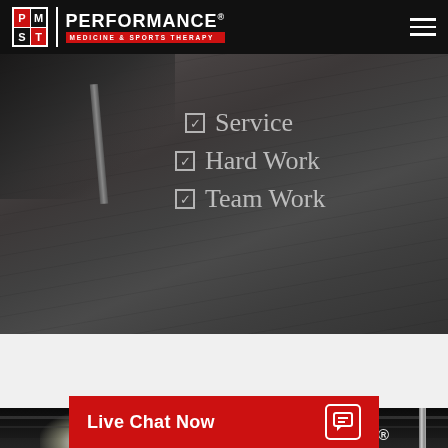[Figure (logo): PMST Performance Medicine & Sports Therapy logo with red subtitle bar on black header]
[Figure (photo): Dark wood floor gym interior photo with checklist overlay showing Service, Hard Work, Team Work]
☑ Service
☑ Hard Work
☑ Team Work
[Figure (photo): Gym interior photo showing ceiling lights and Performance signage]
Live Chat Now